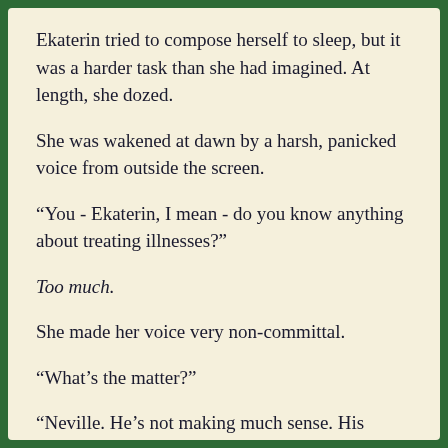Ekaterin tried to compose herself to sleep, but it was a harder task than she had imagined. At length, she dozed.
She was wakened at dawn by a harsh, panicked voice from outside the screen.
“You - Ekaterin, I mean - do you know anything about treating illnesses?”
Too much.
She made her voice very non-committal.
“What’s the matter?”
“Neville. He’s not making much sense. His forehead’s incredibly hot. And he seems to be having trouble breathing.”